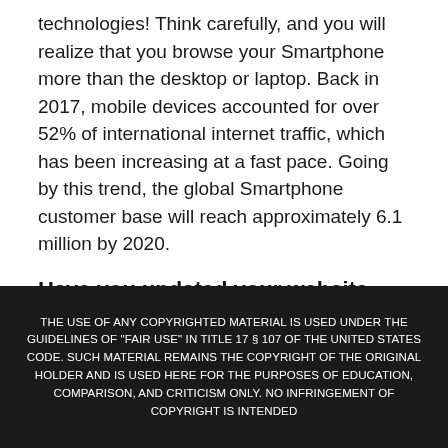technologies! Think carefully, and you will realize that you browse your Smartphone more than the desktop or laptop. Back in 2017, mobile devices accounted for over 52% of international internet traffic, which has been increasing at a fast pace. Going by this trend, the global Smartphone customer base will reach approximately 6.1 million by 2020.
Have you updated your website accordingly?
THE USE OF ANY COPYRIGHTED MATERIAL IS USED UNDER THE GUIDELINES OF "FAIR USE" IN TITLE 17 § 107 OF THE UNITED STATES CODE. SUCH MATERIAL REMAINS THE COPYRIGHT OF THE ORIGINAL HOLDER AND IS USED HERE FOR THE PURPOSES OF EDUCATION, COMPARISON, AND CRITICISM ONLY. NO INFRINGEMENT OF COPYRIGHT IS INTENDED